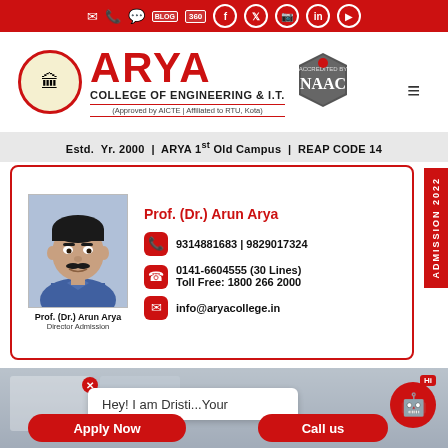Arya College of Engineering & I.T. — top navigation bar with social icons
[Figure (logo): Arya College of Engineering & I.T. logo with circular emblem, NAAC accreditation badge]
Estd. Yr. 2000 | ARYA 1st Old Campus | REAP CODE 14
Prof. (Dr.) Arun Arya
9314881683 | 9829017324
0141-6604555 (30 Lines)
Toll Free: 1800 266 2000
info@aryacollege.in
Prof. (Dr.) Arun Arya
Director Admission
ADMISSION 2022
Hey! I am Dristi...Your
Apply Now
Call us